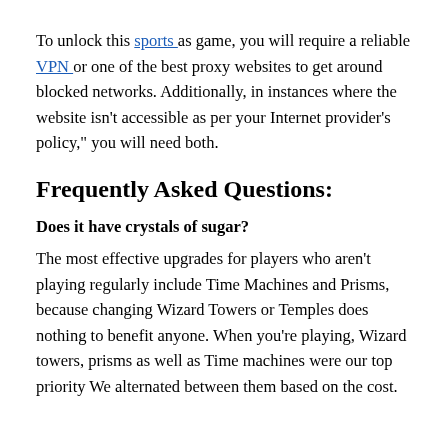To unlock this sports as game, you will require a reliable VPN or one of the best proxy websites to get around blocked networks. Additionally, in instances where the website isn't accessible as per your Internet provider's policy," you will need both.
Frequently Asked Questions:
Does it have crystals of sugar?
The most effective upgrades for players who aren't playing regularly include Time Machines and Prisms, because changing Wizard Towers or Temples does nothing to benefit anyone. When you're playing, Wizard towers, prisms as well as Time machines were our top priority We alternated between them based on the cost.